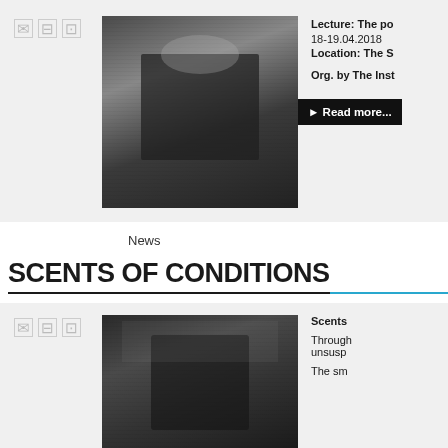[Figure (photo): Black and white photo of a man in black clothes wearing sunglasses, holding a bottle, standing in front of shelves with bottles]
Lecture: The po
18-19.04.2018
Location: The S
Org. by The Inst
Read more...
News
SCENTS OF CONDITIONS
[Figure (photo): Black and white photo of a man sitting in a foggy forest holding mushrooms]
Scents
Through
unsus
The sm